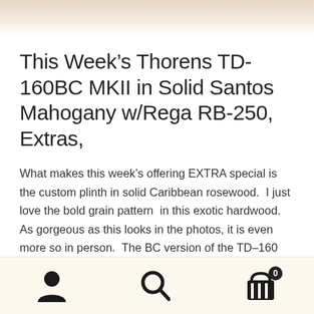[Figure (photo): Partial image of a turntable plinth in Santos Mahogany wood, visible at the top of the page, cropped.]
This Week's Thorens TD-160BC MKII in Solid Santos Mahogany w/Rega RB-250, Extras,
What makes this week's offering EXTRA special is the custom plinth in solid Caribbean rosewood.  I just love the bold grain pattern  in this exotic hardwood.  As gorgeous as this looks in the photos, it is even more so in person.  The BC version of the TD–160 came without a stock tonearm, so there is no this vestigial cueing lever.  A nice clean look!
Navigation bar with user icon, search icon, and cart icon with badge 0